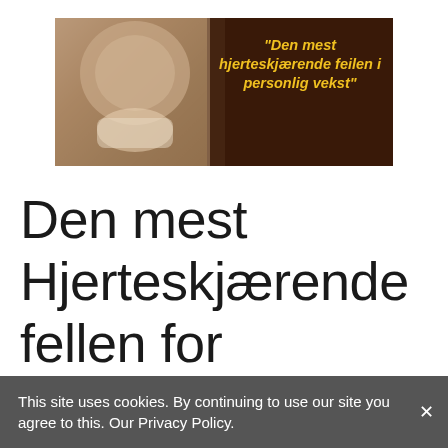[Figure (photo): A person holding a cup near their face, with a dark reddish-brown background. Text overlay in yellow italic bold reads: "Den mest hjerteskjærende feilen i personlig vekst"]
Den mest Hjerteskjærende fellen for Personlig vekst
This site uses cookies. By continuing to use our site you agree to this. Our Privacy Policy.